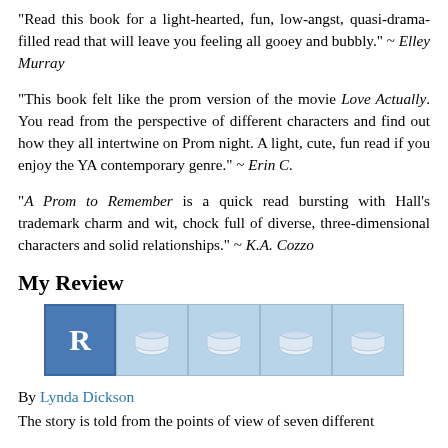"Read this book for a light-hearted, fun, low-angst, quasi-drama-filled read that will leave you feeling all gooey and bubbly." ~ Elley Murray
"This book felt like the prom version of the movie Love Actually. You read from the perspective of different characters and find out how they all intertwine on Prom night. A light, cute, fun read if you enjoy the YA contemporary genre." ~ Erin C.
"A Prom to Remember is a quick read bursting with Hall's trademark charm and wit, chock full of diverse, three-dimensional characters and solid relationships." ~ K.A. Cozzo
My Review
[Figure (other): Rating widget showing one blue R tile followed by four open book icons on light blue background tiles]
By Lynda Dickson
The story is told from the points of view of seven different